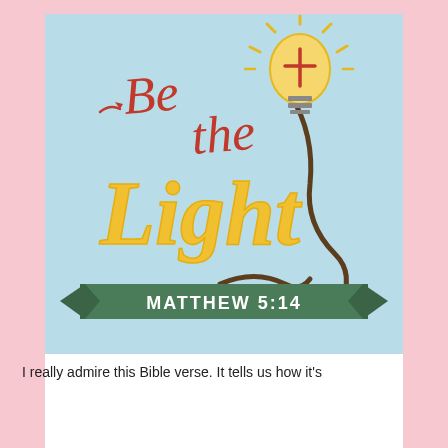[Figure (illustration): A decorative illustration with light blue background featuring hand-lettered text 'Be the Light' in red and yellow script fonts, with a lightbulb graphic containing a cross inside, rays emanating from the top, a cord/wire, and a green banner ribbon at the bottom reading 'MATTHEW 5:14' in white uppercase letters.]
I really admire this Bible verse. It tells us how it's